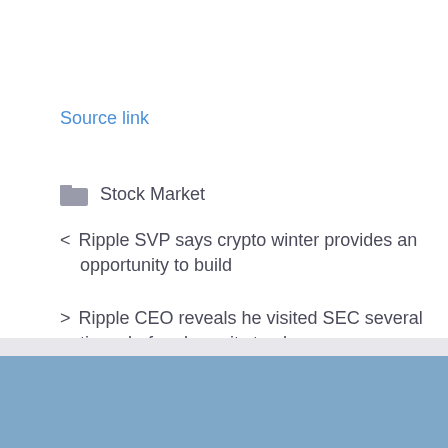Source link
Stock Market
< Ripple SVP says crypto winter provides an opportunity to build
> Ripple CEO reveals he visited SEC several times before lawsuit struck
Commodity